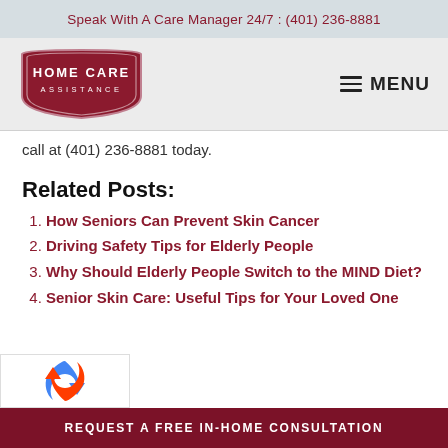Speak With A Care Manager 24/7: (401) 236-8881
[Figure (logo): Home Care Assistance logo — dark red shield/badge shape with text HOME CARE ASSISTANCE]
call at (401) 236-8881 today.
Related Posts:
How Seniors Can Prevent Skin Cancer
Driving Safety Tips for Elderly People
Why Should Elderly People Switch to the MIND Diet?
Senior Skin Care: Useful Tips for Your Loved One
REQUEST A FREE IN-HOME CONSULTATION